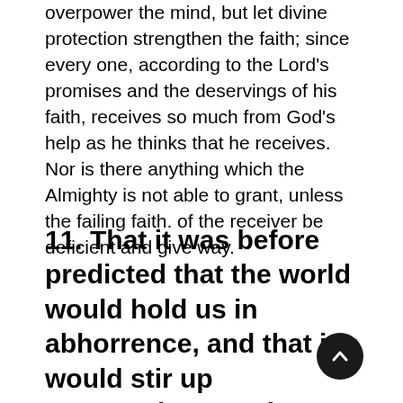overpower the mind, but let divine protection strengthen the faith; since every one, according to the Lord's promises and the deservings of his faith, receives so much from God's help as he thinks that he receives. Nor is there anything which the Almighty is not able to grant, unless the failing faith. of the receiver be deficient and give way.
11. That it was before predicted that the world would hold us in abhorrence, and that it would stir up persecutions against us, and that no new thing is happening to the Christians, since from the beginning of the